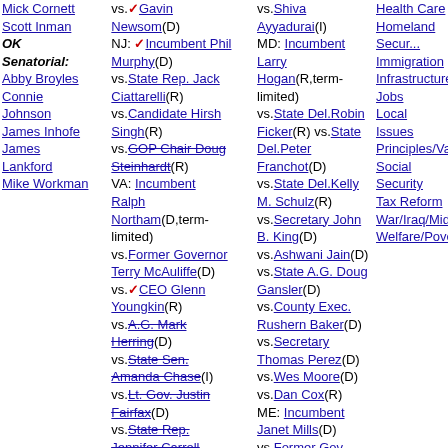Mick Cornett
Scott Inman
OK
Senatorial:
Abby Broyles
Connie Johnson
James Inhofe
James Lankford
Mike Workman
vs.✓Gavin Newsom(D)
NJ: ✓Incumbent Phil Murphy(D)
vs.State Rep. Jack Ciattarelli(R)
vs.Candidate Hirsh Singh(R)
vs.GOP Chair Doug Steinhardt(R)
VA: Incumbent Ralph Northam(D,term-limited)
vs.Former Governor Terry McAuliffe(D)
vs.✓CEO Glenn Youngkin(R)
vs.A.G. Mark Herring(D)
vs.State Sen. Amanda Chase(I)
vs.Lt. Gov. Justin Fairfax(D)
vs.State Rep. Jennifer Carroll Foy(D)
vs.State Rep. Lee Carter(D)
vs.State Sen. Jennifer McClellan(D)
vs.Shiva Ayyadurai(I)
MD: Incumbent Larry Hogan(R,term-limited)
vs.State Del.Robin Ficker(R) vs.State Del.Peter Franchot(D)
vs.State Del.Kelly M. Schulz(R)
vs.Secretary John B. King(D)
vs.Ashwani Jain(D)
vs.State A.G. Doug Gansler(D)
vs.County Exec. Rushern Baker(D)
vs.Secretary Thomas Perez(D)
vs.Wes Moore(D)
vs.Dan Cox(R)
ME: Incumbent Janet Mills(D)
vs.Former Gov. Paul LePage(R)
MI: Incumbent Gretchen Whitmer(D)
vs.Chief James Craig(R)
Health Care
Homeland Security
Immigration
Infrastructure/Technology
Jobs
Local Issues
Principles/Values
Social Security
Tax Reform
War/Iraq/Mideast
Welfare/Poverty